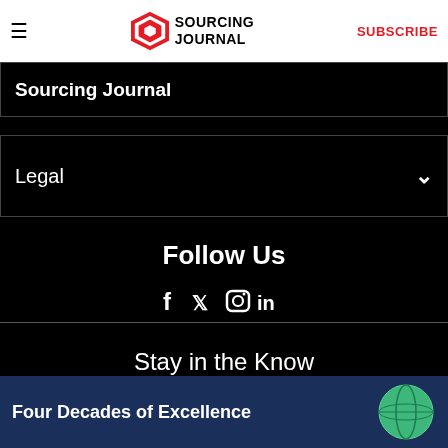Sourcing Journal — SUBSCRIBE
Sourcing Journal
Legal
Follow Us
f 𝕏 Instagram in
Stay in the Know
Enter Your Email
SUBSCRIBE >
[Figure (infographic): Advertisement banner with navy blue background, globe graphic, and text 'Four Decades of Excellence']